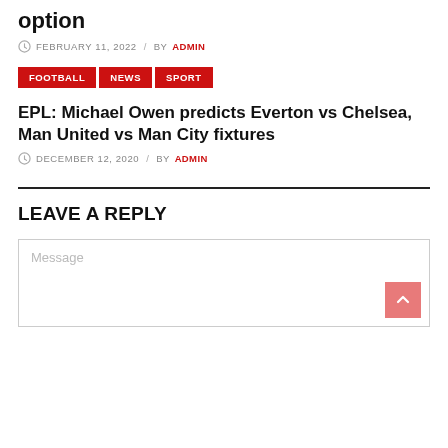option
FEBRUARY 11, 2022 / BY ADMIN
FOOTBALL NEWS SPORT
EPL: Michael Owen predicts Everton vs Chelsea, Man United vs Man City fixtures
DECEMBER 12, 2020 / BY ADMIN
LEAVE A REPLY
Message